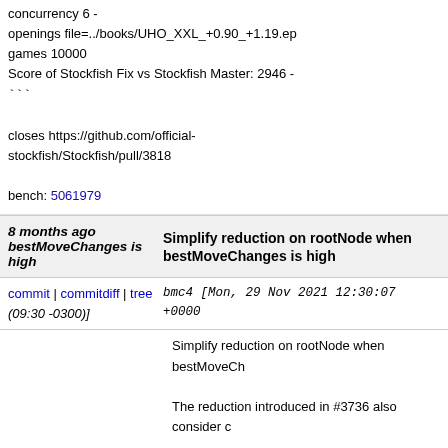concurrency 6 -
openings file=../books/UHO_XXL_+0.90_+1.19.ep
games 10000
Score of Stockfish Fix vs Stockfish Master: 2946 -
```
closes https://github.com/official-stockfish/Stockfish/pull/3818
bench: 5061979
8 months ago
bestMoveChanges is high
Simplify reduction on rootNode when bestMoveChanges is high
commit | commitdiff | tree
bmc4 [Mon, 29 Nov 2021 12:30:07 +0000 (09:30 -0300)]
Simplify reduction on rootNode when bestMoveCh

The reduction introduced in #3736 also consider c

STC:
LLR: 2.94 (-2.94,2.94) <-2.25,0.25>
Total: 28736 W: 7494 L: 7329 D: 13913
Ptnml(0-2): 95, 3247, 7503, 3444, 79
https://tests.stockfishchess.org/tests/view/61a3abe

LTC:
LLR: 2.94 (-2.94,2.94) <-2.25,0.25>